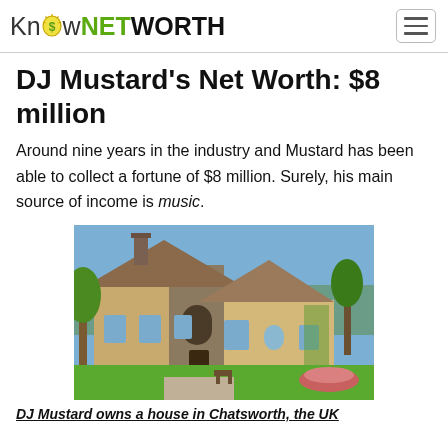Know NETWORTH
DJ Mustard's Net Worth: $8 million
Around nine years in the industry and Mustard has been able to collect a fortune of $8 million. Surely, his main source of income is music.
[Figure (photo): Large luxury mansion with stone facade, multiple roof peaks, surrounded by trees and manicured lawn, located in Chatsworth]
DJ Mustard owns a house in Chatsworth, the UK